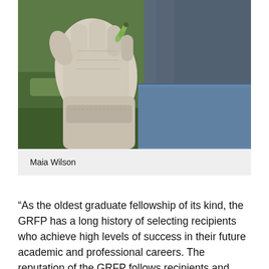[Figure (photo): Close-up photo of a person wearing a white leather glove holding a small caterpillar, wearing a grey t-shirt and jeans, with green grass in the background.]
Maia Wilson
“As the oldest graduate fellowship of its kind, the GRFP has a long history of selecting recipients who achieve high levels of success in their future academic and professional careers. The reputation of the GRFP follows recipients and often helps them become life-long leaders that contribute significantly